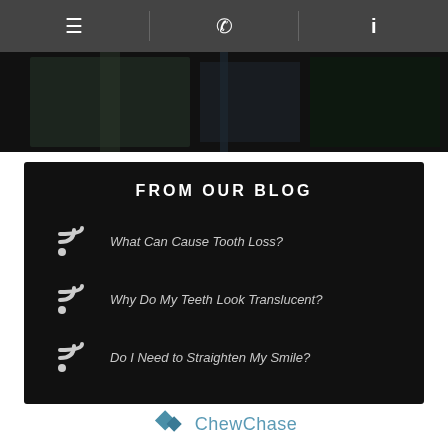Navigation bar with menu, phone, and info icons
[Figure (photo): Dark photo strip showing partial exterior building/window image]
FROM OUR BLOG
What Can Cause Tooth Loss?
Why Do My Teeth Look Translucent?
Do I Need to Straighten My Smile?
[Figure (logo): ChewChase dental practice logo with teal diamond/arrow graphic]